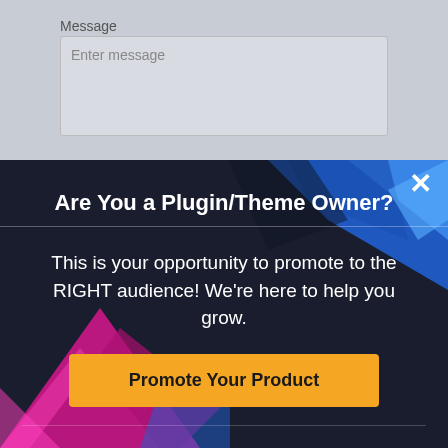Message
Enter message
[Figure (screenshot): Modal popup dialog with dark navy background and colorful geometric shapes. Contains title 'Are You a Plugin/Theme Owner?', promotional text, and an orange call-to-action button.]
Are You a Plugin/Theme Owner?
This is your opportunity to promote to the RIGHT audience! We're here to help you grow.
Promote Your Product